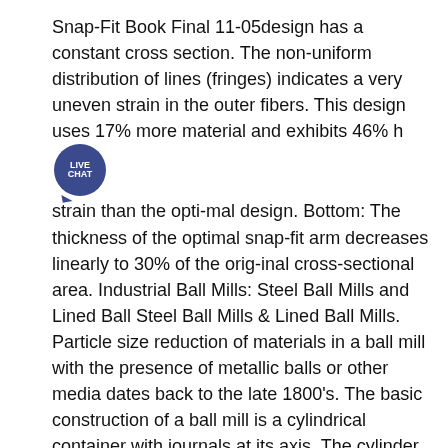Snap-Fit Book Final 11-05design has a constant cross section. The non-uniform distribution of lines (fringes) indicates a very uneven strain in the outer fibers. This design uses 17% more material and exhibits 46% higher strain than the opti-mal design. Bottom: The thickness of the optimal snap-fit arm decreases linearly to 30% of the orig-inal cross-sectional area. Industrial Ball Mills: Steel Ball Mills and Lined Ball Steel Ball Mills & Lined Ball Mills. Particle size reduction of materials in a ball mill with the presence of metallic balls or other media dates back to the late 1800's. The basic construction of a ball mill is a cylindrical container with journals at its axis. The cylinder is filled with grinding media (ceramic or Ball MillDOVE Ball Mills are deigned for either wet or dry grinding of materials, in various models, and in accordance to the processing and the crushing plant design, to cater to the liberation size of the minerals and the hardness of the ore. DOVE supplies two different kinds of ball mills ... Ball mill media optimization -